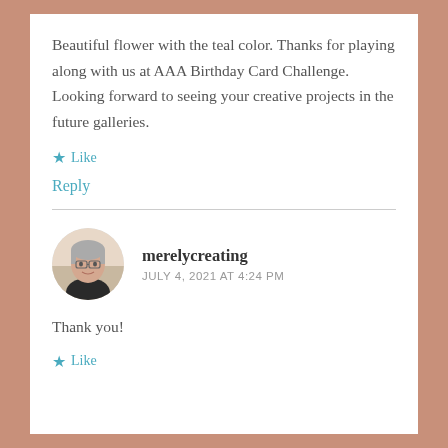Beautiful flower with the teal color. Thanks for playing along with us at AAA Birthday Card Challenge. Looking forward to seeing your creative projects in the future galleries.
Like
Reply
merelycreating
JULY 4, 2021 AT 4:24 PM
Thank you!
Like